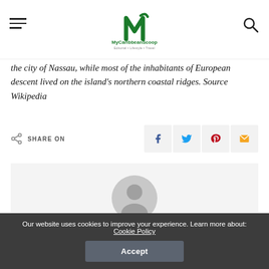MyCaribbeanScoop
the city of Nassau, while most of the inhabitants of European descent lived on the island's northern coastal ridges. Source Wikipedia
SHARE ON
[Figure (other): Author avatar placeholder - grey circle with person silhouette]
Tisha Ricketts
View More Posts
Our website uses cookies to improve your experience. Learn more about: Cookie Policy
Accept